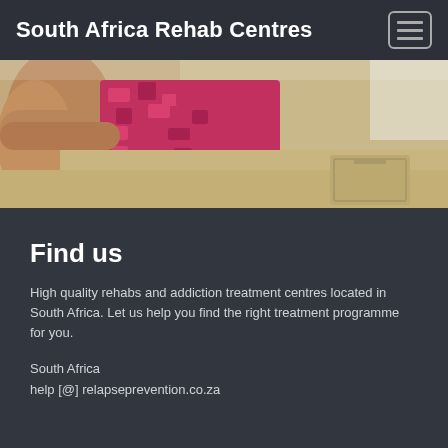South Africa Rehab Centres
[Figure (photo): Close-up photo of a person sitting, showing their arm, torso wearing a red patterned top and khaki pants with a pocket visible]
Find us
High quality rehabs and addiction treatment centres located in South Africa. Let us help you find the right treatment programme for you.
South Africa
help [@] relapseprevention.co.za